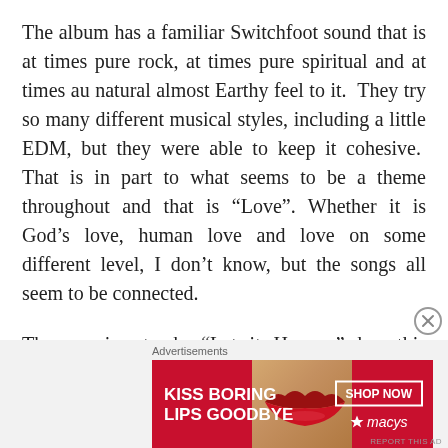The album has a familiar Switchfoot sound that is at times pure rock, at times pure spiritual and at times au natural almost Earthy feel to it.  They try so many different musical styles, including a little EDM, but they were able to keep it cohesive.  That is in part to what seems to be a theme throughout and that is “Love”.  Whether it is God’s love, human love and love on some different level, I don’t know, but the songs all seem to be connected.
The opening track, “Let it Happen” has this spiritual feel with a little bit of rock thrown in and the message to it about letting love just happen as well as letting life
Advertisements
[Figure (infographic): Advertisement banner for Macy's lipstick: 'KISS BORING LIPS GOODBYE' with a photo of a woman's lips and a SHOP NOW button with Macy's star logo]